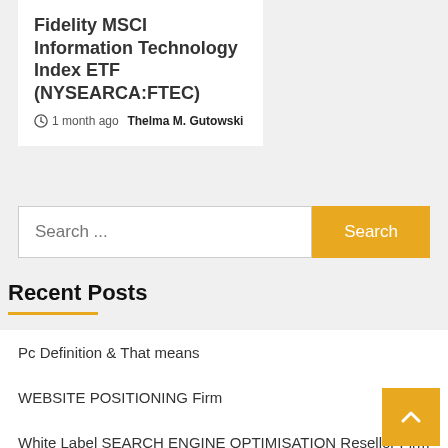Fidelity MSCI Information Technology Index ETF (NYSEARCA:FTEC)
1 month ago  Thelma M. Gutowski
Search ...
Recent Posts
Pc Definition & That means
WEBSITE POSITIONING Firm
White Label SEARCH ENGINE OPTIMISATION Reseller Firm